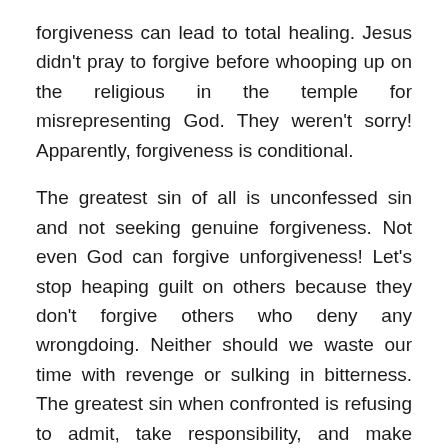forgiveness can lead to total healing. Jesus didn't pray to forgive before whooping up on the religious in the temple for misrepresenting God. They weren't sorry! Apparently, forgiveness is conditional.
The greatest sin of all is unconfessed sin and not seeking genuine forgiveness. Not even God can forgive unforgiveness! Let's stop heaping guilt on others because they don't forgive others who deny any wrongdoing. Neither should we waste our time with revenge or sulking in bitterness. The greatest sin when confronted is refusing to admit, take responsibility, and make amends after failing to treat others like you want to be treated. If you think you are right while two or more of your friends or family confront you of wrongdoing, think again! Okay, one person could be wrong, maybe even two family members. But if